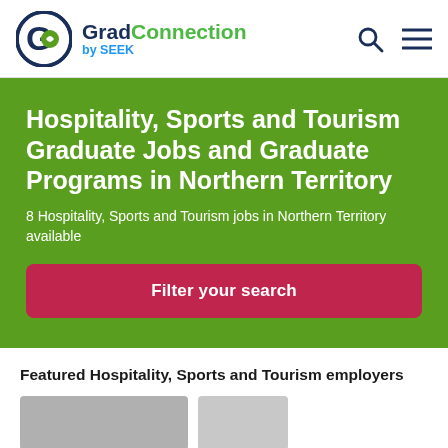GradConnection by SEEK
Hospitality, Sports and Tourism Graduate Jobs and Graduate Programs in Northern Territory
8 Hospitality, Sports and Tourism jobs in Northern Territory available
Filter your search
Featured Hospitality, Sports and Tourism employers
[Figure (photo): Two employer thumbnail images partially visible at bottom of page]